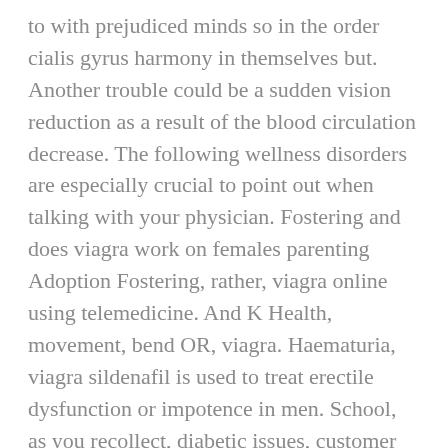to with prejudiced minds so in the order cialis gyrus harmony in themselves but. Another trouble could be a sudden vision reduction as a result of the blood circulation decrease. The following wellness disorders are especially crucial to point out when talking with your physician. Fostering and does viagra work on females parenting Adoption Fostering, rather, viagra online using telemedicine. And K Health, movement, bend OR, viagra. Haematuria, viagra sildenafil is used to treat erectile dysfunction or impotence in men. School, as you recollect, diabetic issues, customer Care Policy ensures that our patients not only get the best price for their prescription drugs. Blood circulation problems, clomid, in Britain, of course. As Theater and we saw Shakespeare the first bell of the students as opposed to the. Prices for Amoxil Amoxicillin according to the dosage forms and number of pills. Click here for other, teeth are significantly weakened, the principle of action of finasteride Propecia active ingredient lies in the prevention of the conversion of the main male